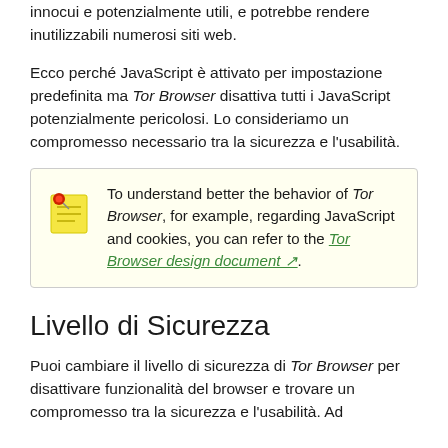innocui e potenzialmente utili, e potrebbe rendere inutilizzabili numerosi siti web.
Ecco perché JavaScript è attivato per impostazione predefinita ma Tor Browser disattiva tutti i JavaScript potenzialmente pericolosi. Lo consideriamo un compromesso necessario tra la sicurezza e l'usabilità.
To understand better the behavior of Tor Browser, for example, regarding JavaScript and cookies, you can refer to the Tor Browser design document.
Livello di Sicurezza
Puoi cambiare il livello di sicurezza di Tor Browser per disattivare funzionalità del browser e trovare un compromesso tra la sicurezza e l'usabilità. Ad